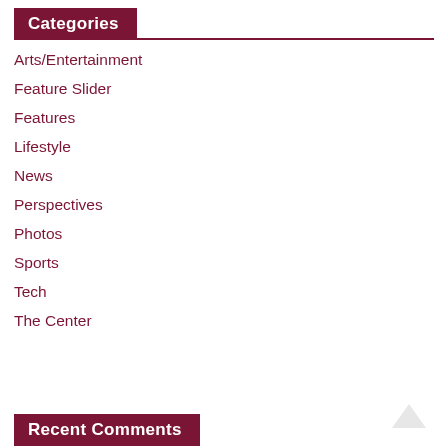Categories
Arts/Entertainment
Feature Slider
Features
Lifestyle
News
Perspectives
Photos
Sports
Tech
The Center
Recent Comments